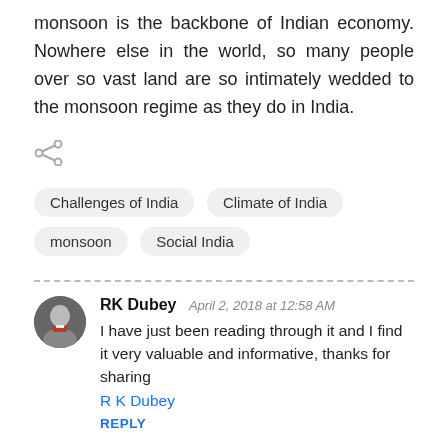monsoon is the backbone of Indian economy. Nowhere else in the world, so many people over so vast land are so intimately wedded to the monsoon regime as they do in India.
[Figure (other): Share icon (less-than symbol style social share button)]
Challenges of India
Climate of India
monsoon
Social India
RK Dubey  April 2, 2018 at 12:58 AM
I have just been reading through it and I find it very valuable and informative, thanks for sharing
R K Dubey
REPLY